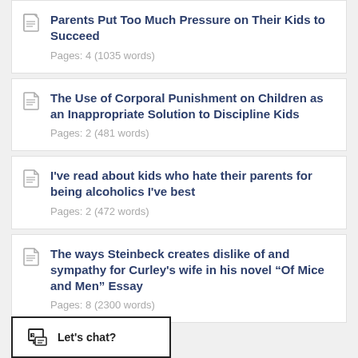Parents Put Too Much Pressure on Their Kids to Succeed
Pages: 4 (1035 words)
The Use of Corporal Punishment on Children as an Inappropriate Solution to Discipline Kids
Pages: 2 (481 words)
I've read about kids who hate their parents for being alcoholics I've best
Pages: 2 (472 words)
The ways Steinbeck creates dislike of and sympathy for Curley's wife in his novel “Of Mice and Men” Essay
Pages: 8 (2300 words)
Let's chat?